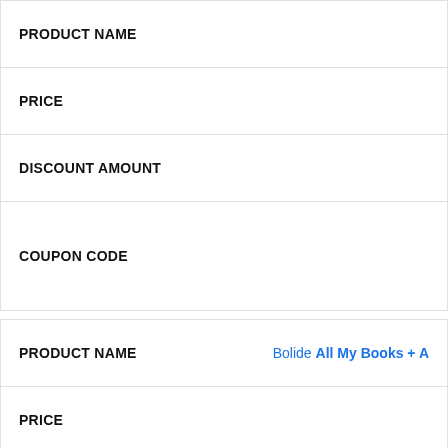| Field | Value |
| --- | --- |
| PRODUCT NAME |  |
| PRICE |  |
| DISCOUNT AMOUNT |  |
| COUPON CODE |  |
| Field | Value |
| --- | --- |
| PRODUCT NAME | Bolide All My Books + A |
| PRICE |  |
| DISCOUNT AMOUNT |  |
| COUPON CODE |  |
[Figure (other): Orange circular FAB button with scissors icon]